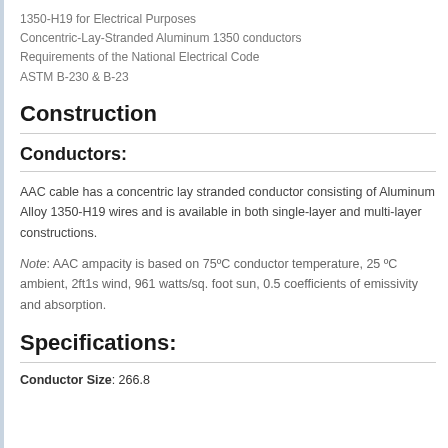1350-H19 for Electrical Purposes
Concentric-Lay-Stranded Aluminum 1350 conductors
Requirements of the National Electrical Code
ASTM B-230 & B-23
Construction
Conductors:
AAC cable has a concentric lay stranded conductor consisting of Aluminum Alloy 1350-H19 wires and is available in both single-layer and multi-layer constructions.
Note: AAC ampacity is based on 75ºC conductor temperature, 25 ºC ambient, 2ft1s wind, 961 watts/sq. foot sun, 0.5 coefficients of emissivity and absorption.
Specifications:
Conductor Size: 266.8